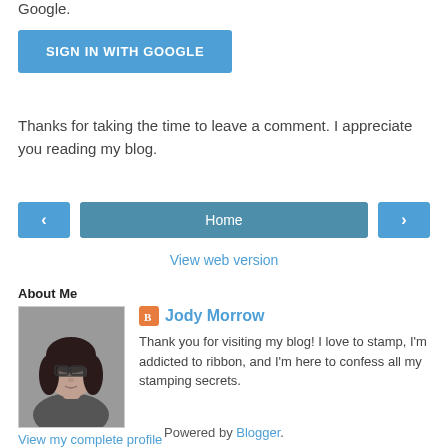Google.
SIGN IN WITH GOOGLE
Thanks for taking the time to leave a comment. I appreciate you reading my blog.
‹
Home
›
View web version
About Me
[Figure (photo): Black and white photo of a woman with long dark hair and glasses]
Jody Morrow
Thank you for visiting my blog! I love to stamp, I'm addicted to ribbon, and I'm here to confess all my stamping secrets.
View my complete profile
Powered by Blogger.